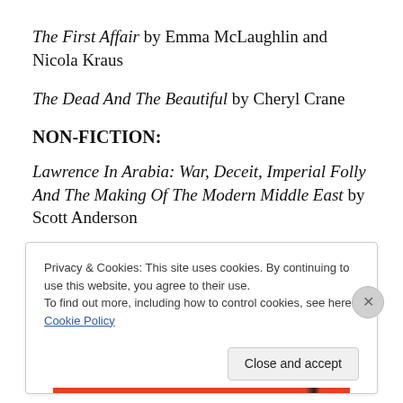The First Affair by Emma McLaughlin and Nicola Kraus
The Dead And The Beautiful by Cheryl Crane
NON-FICTION:
Lawrence In Arabia: War, Deceit, Imperial Folly And The Making Of The Modern Middle East by Scott Anderson
Privacy & Cookies: This site uses cookies. By continuing to use this website, you agree to their use.
To find out more, including how to control cookies, see here: Cookie Policy